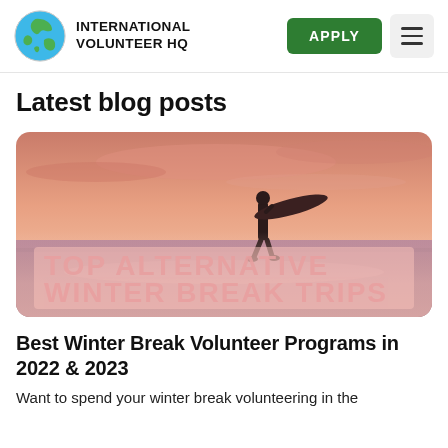INTERNATIONAL VOLUNTEER HQ
Latest blog posts
[Figure (photo): Person carrying a surfboard on a beach at sunset with pink sky, overlaid with text 'TOP ALTERNATIVE WINTER BREAK TRIPS']
Best Winter Break Volunteer Programs in 2022 & 2023
Want to spend your winter break volunteering in the